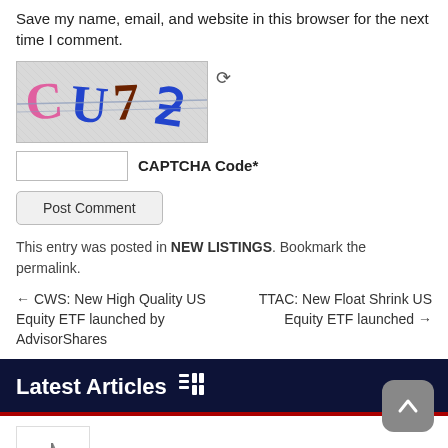Save my name, email, and website in this browser for the next time I comment.
[Figure (other): CAPTCHA image showing handwritten-style characters 'CU7?' on a striped grey background, with a refresh icon and text input field labeled 'CAPTCHA Code*']
Post Comment
This entry was posted in NEW LISTINGS. Bookmark the permalink.
← CWS: New High Quality US Equity ETF launched by AdvisorShares
TTAC: New Float Shrink US Equity ETF launched →
Latest Articles
Market perspectives: September 2022
[Figure (logo): Vanguard logo with ship illustration]